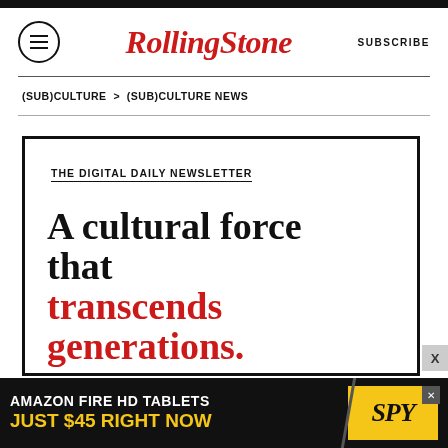RollingStone | SUBSCRIBE
(SUB)CULTURE > (SUB)CULTURE NEWS
[Figure (infographic): Rolling Stone promotional newsletter box with headline 'A cultural force that transcends generations.' The top line is in black serif bold, the bottom two lines in red serif bold.]
[Figure (infographic): Amazon Fire HD Tablets advertisement banner. Text: 'AMAZON FIRE HD TABLETS JUST $45 RIGHT NOW' with SPY logo in yellow.]